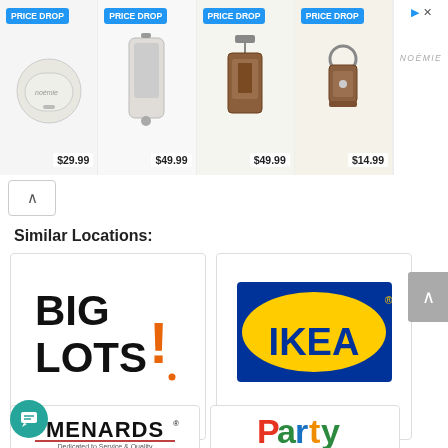[Figure (screenshot): Advertisement banner showing 4 products with 'PRICE DROP' badges and prices: $29.99, $49.99, $49.99, $14.99, with NOÉMIE branding on the right side]
Similar Locations:
[Figure (logo): Big Lots logo - black bold text 'BIG LOTS!' with orange exclamation mark]
Big Lots Near Me
[Figure (logo): IKEA logo - yellow oval with blue text IKEA on blue background]
IKEA Near Me
[Figure (logo): Menards logo - black text 'MENARDS' with registered trademark, tagline 'Dedicated to Service & Quality']
[Figure (logo): Party City logo - colorful text 'Party' in red, green, blue, yellow]